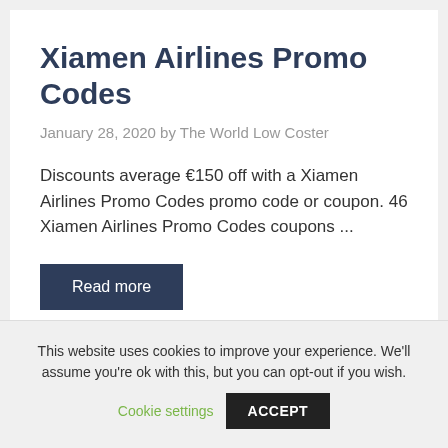Xiamen Airlines Promo Codes
January 28, 2020 by The World Low Coster
Discounts average €150 off with a Xiamen Airlines Promo Codes promo code or coupon. 46 Xiamen Airlines Promo Codes coupons ...
Read more
This website uses cookies to improve your experience. We'll assume you're ok with this, but you can opt-out if you wish.
Cookie settings
ACCEPT